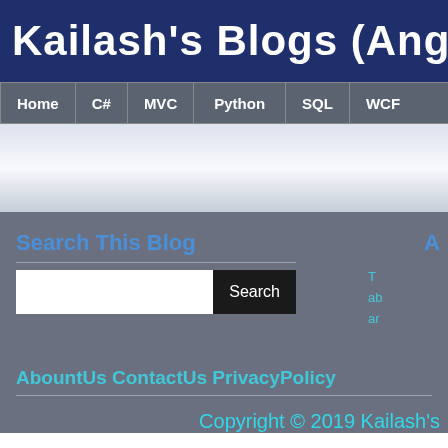Kailash's Blogs (Angular Jou
Home | C# | MVC | Python | SQL | WCF
Search This Blog
A
T... ab... ar...
AbountUs ContactUs PrivacyPolicy
Copyright © 2019 Kailash's